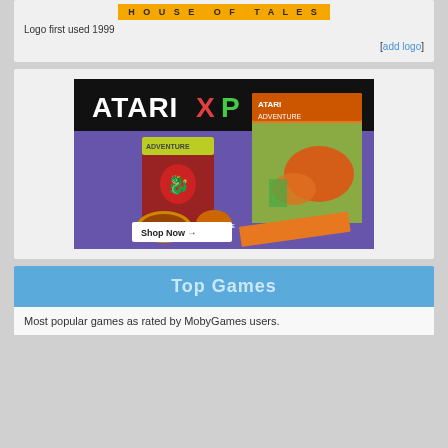[Figure (logo): House of Tales logo banner with orange/yellow background and spaced capital letters]
Logo first used 1999
[add logo]
[Figure (illustration): Atari XP advertisement showing Adventure game collectibles including a 3D box, patch, pin, and art card with 'Shop Now' button]
Top Games
Most popular games as rated by MobyGames users.